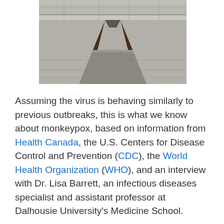[Figure (photo): Photograph showing railway tracks converging into the distance, concrete or stone surface visible between and alongside the tracks.]
Assuming the virus is behaving similarly to previous outbreaks, this is what we know about monkeypox, based on information from Health Canada, the U.S. Centers for Disease Control and Prevention (CDC), the World Health Organization (WHO), and an interview with Dr. Lisa Barrett, an infectious diseases specialist and assistant professor at Dalhousie University's Medicine School.